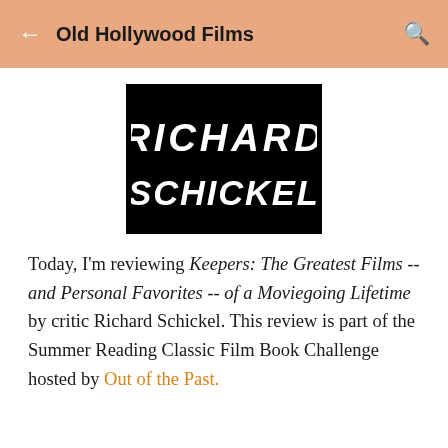Old Hollywood Films
[Figure (illustration): Black book cover with 'RICHARD SCHICKEL' written in large white bold italic letters on two lines]
Today, I'm reviewing Keepers: The Greatest Films -- and Personal Favorites -- of a Moviegoing Lifetime by critic Richard Schickel. This review is part of the Summer Reading Classic Film Book Challenge hosted by Out of the Past.